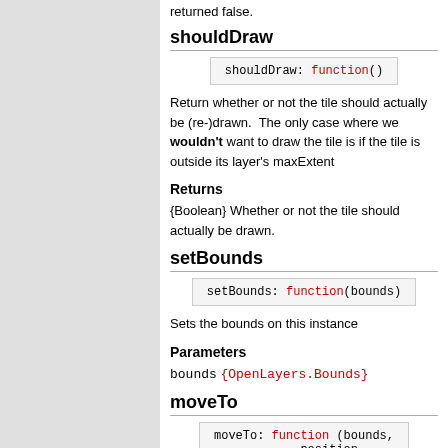returned false.
shouldDraw
shouldDraw: function()
Return whether or not the tile should actually be (re-)drawn. The only case where we wouldn't want to draw the tile is if the tile is outside its layer's maxExtent
Returns
{Boolean} Whether or not the tile should actually be drawn.
setBounds
setBounds: function(bounds)
Sets the bounds on this instance
Parameters
bounds {OpenLayers.Bounds}
moveTo
moveTo: function (bounds, position